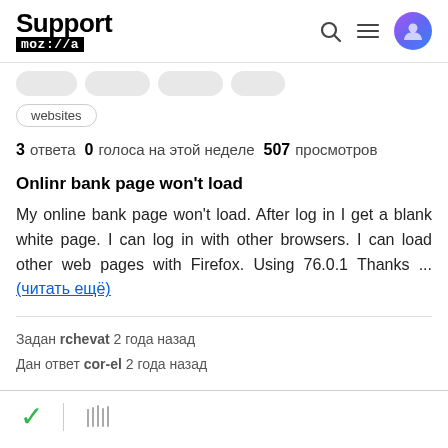Support moz://a
websites
3 ответа  0 голоса на этой неделе  507 просмотров
Onlinr bank page won't load
My online bank page won't load. After log in I get a blank white page. I can log in with other browsers. I can load other web pages with Firefox. Using 76.0.1 Thanks ... (читать ещё)
Задан rchevat 2 года назад
Дан ответ cor-el 2 года назад